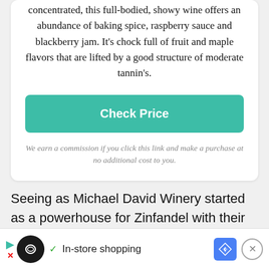concentrated, this full-bodied, showy wine offers an abundance of baking spice, raspberry sauce and blackberry jam. It's chock full of fruit and maple flavors that are lifted by a good structure of moderate tannin's.
Check Price
We earn a commission if you click this link and make a purchase at no additional cost to you.
Seeing as Michael David Winery started as a powerhouse for Zinfandel with their collection 7 Deadly Zins, it's no surprise that the Freakshow Zinfandel is such an expressive wine.
[Figure (other): Advertisement bar at the bottom showing a circular dark icon with infinity-like symbol, play and close buttons, 'In-store shopping' text with checkmark, a blue diamond map/navigation icon, and a circular close button.]